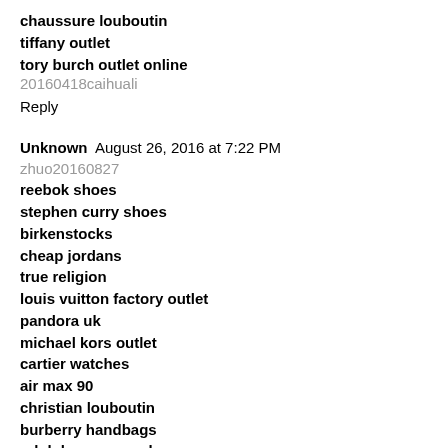chaussure louboutin
tiffany outlet
tory burch outlet online
20160418caihuali
Reply
Unknown  August 26, 2016 at 7:22 PM
zhuo20160827
reebok shoes
stephen curry shoes
birkenstocks
cheap jordans
true religion
louis vuitton factory outlet
pandora uk
michael kors outlet
cartier watches
air max 90
christian louboutin
burberry handbags
ralph lauren pas cher
polo outlet
coach outlet store
salvatore ferragamo
michael kors outlet